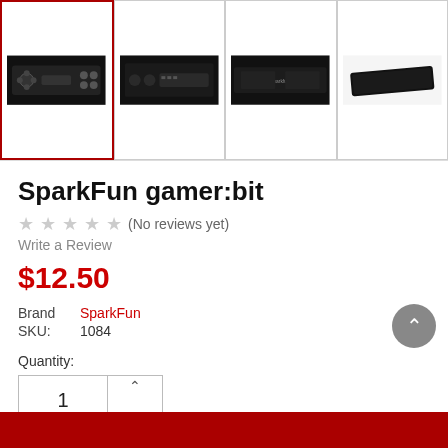[Figure (photo): Product image gallery showing four thumbnail views of the SparkFun gamer:bit circuit board. The first thumbnail (active/selected) shows the front view of the black PCB with game controller buttons and joystick. The second shows a top-down view with visible components. The third shows the front face in detail. The fourth shows an angled view.]
SparkFun gamer:bit
★ ★ ★ ★ ★ (No reviews yet)
Write a Review
$12.50
Brand   SparkFun
SKU:   1084
Quantity:
IN STOCK